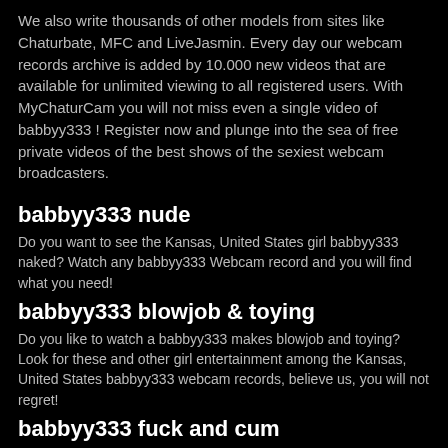We also write thousands of other models from sites like Chaturbate, MFC and LiveJasmin. Every day our webcam records archive is added by 10.000 new videos that are available for unlimited viewing to all registered users. With MyChaturCam you will not miss even a single video of babbyy333 ! Register now and plunge into the sea of free private videos of the best shows of the sexiest webcam broadcasters.
babbyy333 nude
Do you want to see the Kansas, United States girl babbyy333 naked? Watch any babbyy333 Webcam record and you will find what you need!
babbyy333 blowjob & toying
Do you like to watch a babbyy333 makes blowjob and toying? Look for these and other girl entertainment among the Kansas, United States babbyy333 webcam records, believe us, you will not regret!
babbyy333 fuck and cum
Want to see how babbyy333 super-sexy fucks? Watch all the girl